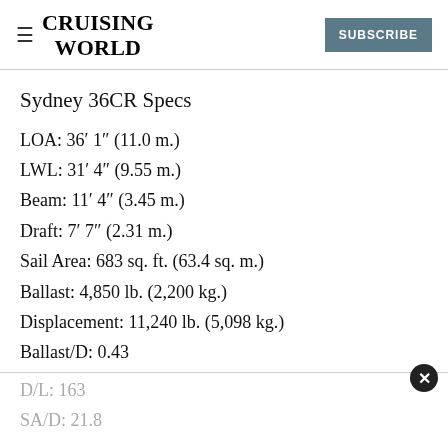CRUISING WORLD
Sydney 36CR Specs
LOA: 36’ 1” (11.0 m.)
LWL: 31’ 4” (9.55 m.)
Beam: 11’ 4” (3.45 m.)
Draft: 7’ 7” (2.31 m.)
Sail Area: 683 sq. ft. (63.4 sq. m.)
Ballast: 4,850 lb. (2,200 kg.)
Displacement: 11,240 lb. (5,098 kg.)
Ballast/D: 0.43
D/L: 163
SA/D: 21.8